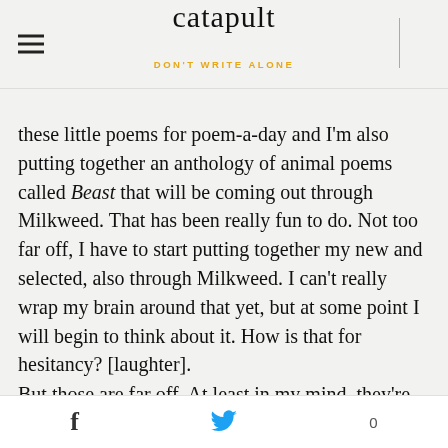catapult
DON'T WRITE ALONE
these little poems for poem-a-day and I'm also putting together an anthology of animal poems called Beast that will be coming out through Milkweed. That has been really fun to do. Not too far off, I have to start putting together my new and selected, also through Milkweed. I can't really wrap my brain around that yet, but at some point I will begin to think about it. How is that for hesitancy? [laughter].
But those are far off. At least in my mind, they're far off. I'm sure my publisher is like no, they're not far off.
EH: [laughter] Well whenever they do come out, I
f  [twitter]  0